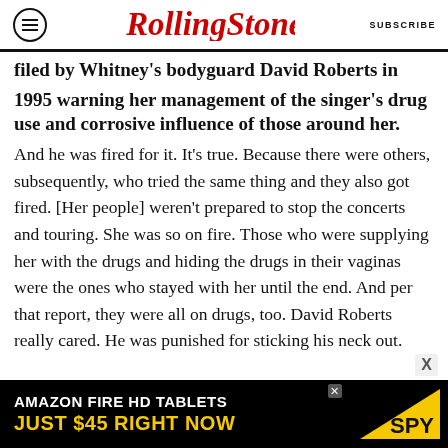RollingStone | SUBSCRIBE
filed by Whitney's bodyguard David Roberts in 1995 warning her management of the singer's drug use and corrosive influence of those around her.
And he was fired for it. It's true. Because there were others, subsequently, who tried the same thing and they also got fired. [Her people] weren't prepared to stop the concerts and touring. She was so on fire. Those who were supplying her with the drugs and hiding the drugs in their vaginas were the ones who stayed with her until the end. And per that report, they were all on drugs, too. David Roberts really cared. He was punished for sticking his neck out.
[Figure (other): Amazon Fire HD Tablets advertisement banner: 'AMAZON FIRE HD TABLETS JUST $45 RIGHT NOW' with SPY logo]